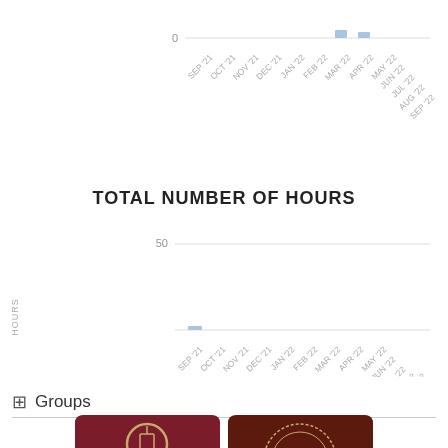[Figure (bar-chart): ]
TOTAL NUMBER OF HOURS
[Figure (bar-chart): TOTAL NUMBER OF HOURS]
Groups
[Figure (logo): Trinity University logo on dark red background]
[Figure (logo): TUVAC circular logo on dark brown background]